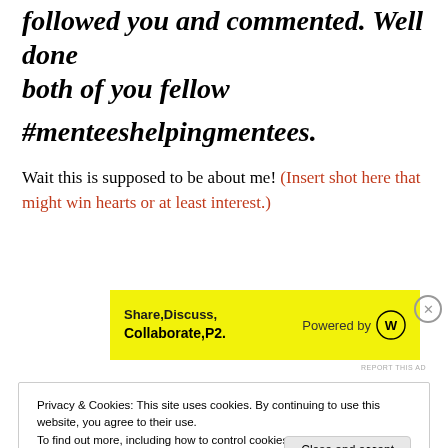followed you and commented. Well done both of you fellow
#menteeshelpingmentees.
Wait this is supposed to be about me! (Insert shot here that might win hearts or at least interest.)
[Figure (other): Yellow advertisement banner for WordPress P2 plugin: 'Share, Discuss, Collaborate, P2. Powered by WordPress logo']
REPORT THIS AD
Privacy & Cookies: This site uses cookies. By continuing to use this website, you agree to their use. To find out more, including how to control cookies, see here: Cookie Policy  Close and accept